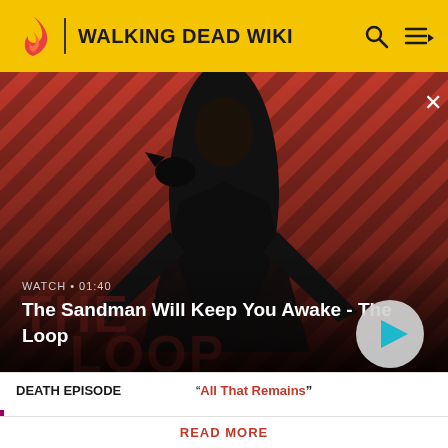WALKING DEAD WIKI
[Figure (screenshot): Video thumbnail showing a dark character with a raven on striped red/dark background. WATCH • 01:40. Title: The Sandman Will Keep You Awake - The Loop. Play button visible.]
| DEATH EPISODE |  |
| --- | --- |
| DEATH EPISODE | "All That Remains" |
Attention! Please be aware that spoilers are not allowed on the wiki and a violation of this policy may result in a ban.
READ MORE